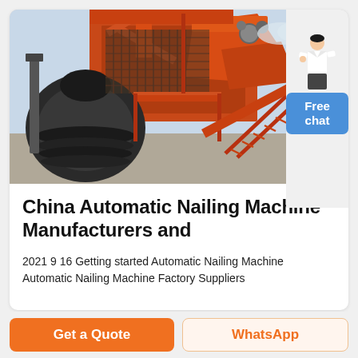[Figure (photo): Large industrial machine (crusher/screening equipment) with orange/red metal structure, black grinding components, steel stairs and platforms, industrial facility background. A woman figure stands to the right with a 'Free chat' button.]
China Automatic Nailing Machine Manufacturers and
2021 9 16 Getting started Automatic Nailing Machine Automatic Nailing Machine Factory Suppliers
Get a Quote
WhatsApp